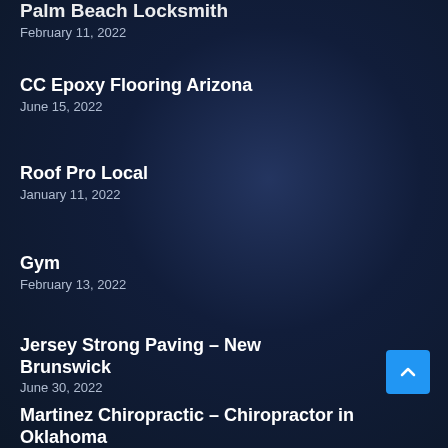Palm Beach Locksmith
February 11, 2022
CC Epoxy Flooring Arizona
June 15, 2022
Roof Pro Local
January 11, 2022
Gym
February 13, 2022
Jersey Strong Paving – New Brunswick
June 30, 2022
Martinez Chiropractic – Chiropractor in Oklahoma